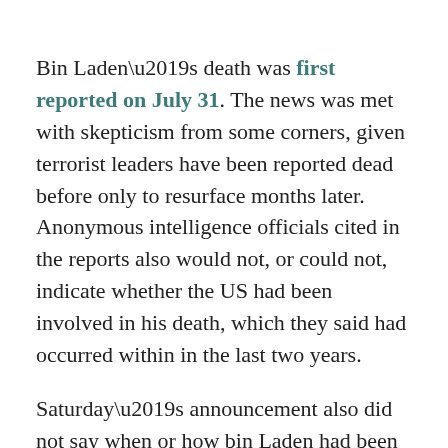Bin Laden’s death was first reported on July 31. The news was met with skepticism from some corners, given terrorist leaders have been reported dead before only to resurface months later. Anonymous intelligence officials cited in the reports also would not, or could not, indicate whether the US had been involved in his death, which they said had occurred within in the last two years.
Saturday’s announcement also did not say when or how bin Laden had been killed. In a statement from President Donald Trump, the White House confirmed his death and claimed responsibility for the attack that killed him: